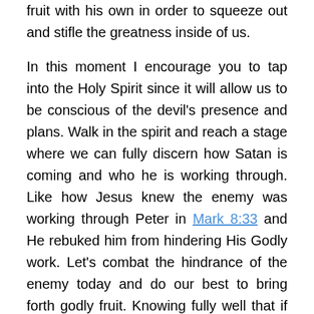fruit with his own in order to squeeze out and stifle the greatness inside of us.

In this moment I encourage you to tap into the Holy Spirit since it will allow us to be conscious of the devil's presence and plans. Walk in the spirit and reach a stage where we can fully discern how Satan is coming and who he is working through. Like how Jesus knew the enemy was working through Peter in Mark 8:33 and He rebuked him from hindering His Godly work. Let's combat the hindrance of the enemy today and do our best to bring forth godly fruit. Knowing fully well that if we apply ourselves and seriously commit to God in no way can the devil STOP US! Don't let the devil gain ground on you and if he has, take steps to reclaim what you have lost.